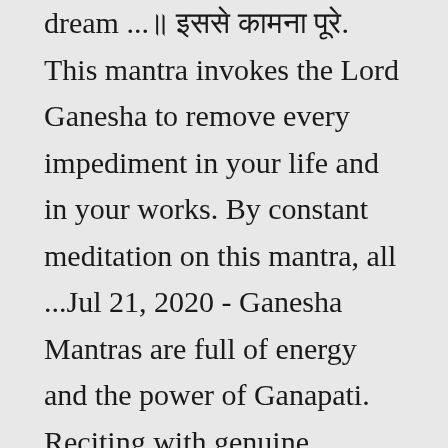dream ...॥ इससे कामना पूरे. This mantra invokes the Lord Ganesha to remove every impediment in your life and in your works. By constant meditation on this mantra, all ...Jul 21, 2020 - Ganesha Mantras are full of energy and the power of Ganapati. Reciting with genuine devotion, like any other Mantras, Ganesh Mantra gives you positive results removing obstacles. ... 15 Powerful Ganesha Mantra To Remove Obstacles & Achieve Success. Ganesha Mantras are full